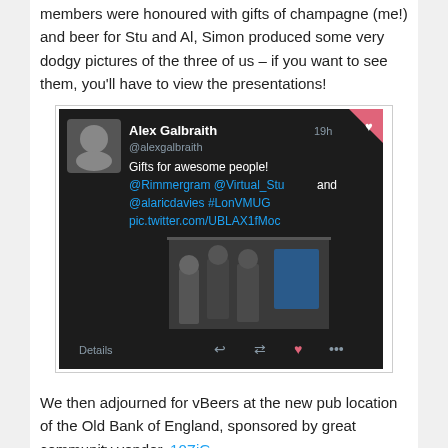members were honoured with gifts of champagne (me!) and beer for Stu and Al, Simon produced some very dodgy pictures of the three of us – if you want to see them, you'll have to view the presentations!
[Figure (screenshot): A Twitter/social media post screenshot with dark background. User Alex Galbraith @alexgalbraith posted 19h ago: 'Gifts for awesome people! @Rimmergram @Virtual_Stu and @alaricdavies #LonVMUG pic.twitter.com/UBLAX1fMoc'. Includes a photo of people in a room and icons for Details, reply, retweet, like, and more.]
We then adjourned for vBeers at the new pub location of the Old Bank of England, sponsored by great community vendor, 10ZiG.
[Figure (screenshot): Bottom portion of another screenshot, partially visible, with white background.]